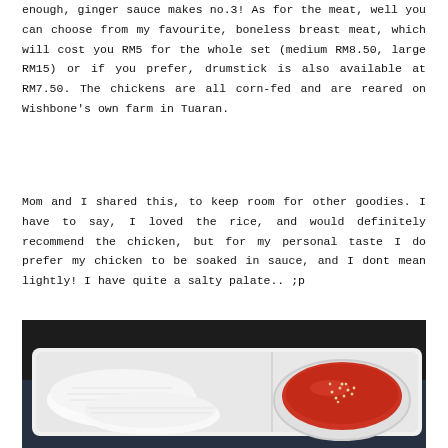enough, ginger sauce makes no.3! As for the meat, well you can choose from my favourite, boneless breast meat, which will cost you RM5 for the whole set (medium RM8.50, large RM15) or if you prefer, drumstick is also available at RM7.50. The chickens are all corn-fed and are reared on Wishbone's own farm in Tuaran.
Mom and I shared this, to keep room for other goodies. I have to say, I loved the rice, and would definitely recommend the chicken, but for my personal taste I do prefer my chicken to be soaked in sauce, and I dont mean lightly! I have quite a salty palate.. ;p
[Figure (photo): Photo of a white rectangular plate with wrapped rice portions and a white bowl containing a dark red dipping sauce topped with sesame seeds or similar garnish, on a dark surface.]